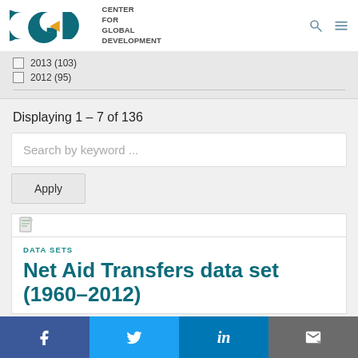CGD Center for Global Development
2013 (103)
2012 (95)
Displaying 1 – 7 of 136
Search by keyword ...
Apply
[Figure (screenshot): Document/file icon thumbnail]
DATA SETS
Net Aid Transfers data set (1960–2012)
Facebook  Twitter  LinkedIn  Email